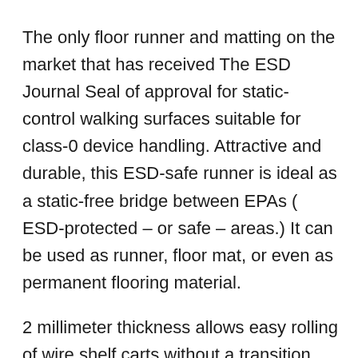The only floor runner and matting on the market that has received The ESD Journal Seal of approval for static-control walking surfaces suitable for class-0 device handling. Attractive and durable, this ESD-safe runner is ideal as a static-free bridge between EPAs ( ESD-protected – or safe – areas.) It can be used as runner, floor mat, or even as permanent flooring material.
2 millimeter thickness allows easy rolling of wire shelf carts without a transition. Aisle-